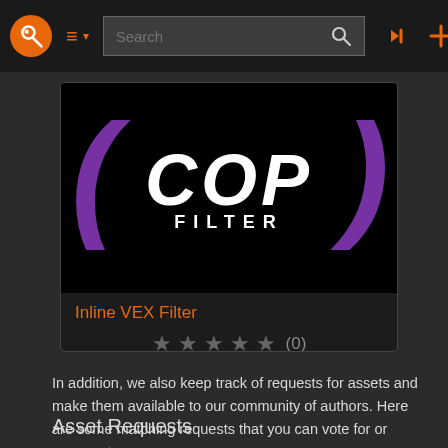[Figure (screenshot): Website navigation bar with orange logo, hamburger menu, search bar, login and add icons]
[Figure (logo): COP FILTER logo: large white bold italic COP text with FILTER subtitle, purple parentheses on black background, representing an inline VEX filter plugin]
Inline VEX Filter
[Figure (other): Five empty/grey stars rating with (0) count]
In addition, we also keep track of requests for assets and make them available to our community of authors. Here are some matching requests that you can vote for or comment on.
Asset Requests